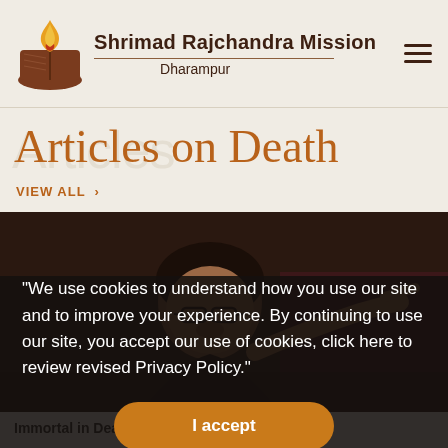Shrimad Rajchandra Mission Dharampur
Articles on Death
VIEW ALL >
[Figure (photo): A person with glasses and a red bindi speaking or gesturing, photographed against a dark background]
"We use cookies to understand how you use our site and to improve your experience. By continuing to use our site, you accept our use of cookies, click here to review revised Privacy Policy."
I accept
Immortal in Death